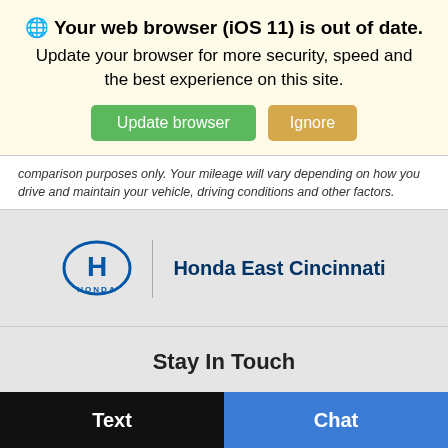🌐 Your web browser (iOS 11) is out of date. Update your browser for more security, speed and the best experience on this site.
comparison purposes only. Your mileage will vary depending on how you drive and maintain your vehicle, driving conditions and other factors.
[Figure (logo): Honda logo and Honda East Cincinnati dealership name]
Stay In Touch
[Figure (infographic): Three circular social media icons (Facebook, Twitter, Instagram) in blue]
Text | Chat